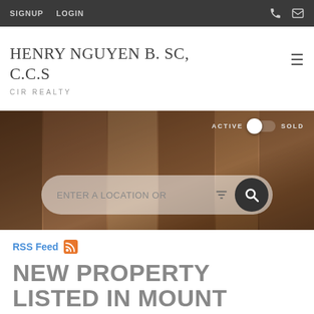SIGNUP  LOGIN
HENRY NGUYEN B. SC, C.C.S
CIR REALTY
[Figure (photo): Hero image showing wooden door/panel background with search bar overlay. Active/Sold toggle visible top right. Search bar reads ENTER A LOCATION OR with filter icon and search button.]
RSS Feed
NEW PROPERTY LISTED IN MOUNT PLEASANT